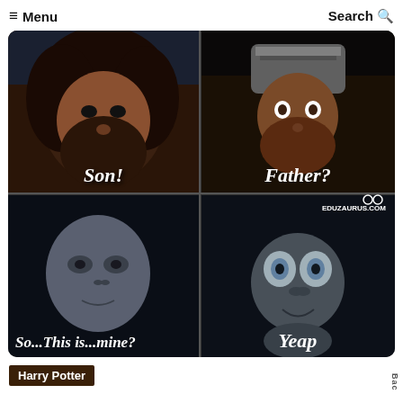≡ Menu   Search Q
[Figure (illustration): A 2x2 meme grid: top-left shows Hagrid (hairy man) labeled 'Son!', top-right shows a warrior in helmet labeled 'Father?', bottom-left shows Voldemort labeled 'So...This is...mine?', bottom-right shows Gollum labeled 'Yeap'. Watermark: EDUZAURUS.COM]
Harry Potter